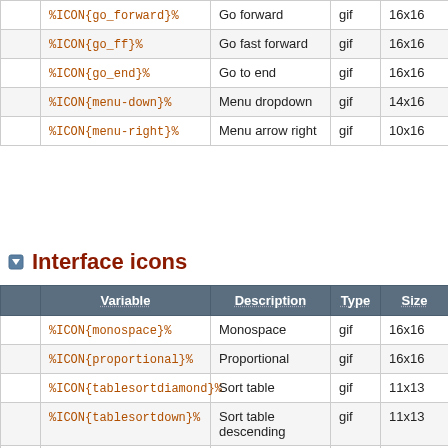|  | Variable | Description | Type | Size | Alias |
| --- | --- | --- | --- | --- | --- |
|  | %ICON{go_forward}% | Go forward | gif | 16x16 |  |
|  | %ICON{go_ff}% | Go fast forward | gif | 16x16 |  |
|  | %ICON{go_end}% | Go to end | gif | 16x16 |  |
|  | %ICON{menu-down}% | Menu dropdown | gif | 14x16 |  |
|  | %ICON{menu-right}% | Menu arrow right | gif | 10x16 |  |
Interface icons
|  | Variable | Description | Type | Size | Alias |
| --- | --- | --- | --- | --- | --- |
|  | %ICON{monospace}% | Monospace | gif | 16x16 |  |
|  | %ICON{proportional}% | Proportional | gif | 16x16 |  |
|  | %ICON{tablesortdiamond}% | Sort table | gif | 11x13 |  |
|  | %ICON{tablesortdown}% | Sort table descending | gif | 11x13 |  |
|  | %ICON{tablesortup}% | Sort table ascending | gif | 11x13 |  |